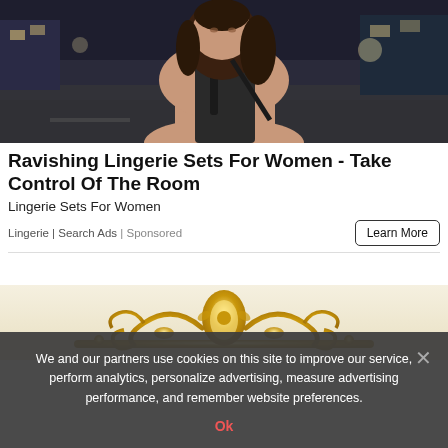[Figure (photo): Woman in dark top standing on a city street at night, urban background with buildings and lights]
Ravishing Lingerie Sets For Women - Take Control Of The Room
Lingerie Sets For Women
Lingerie | Search Ads | Sponsored
[Figure (illustration): Ornate golden decorative crown/headboard ornament on light background]
We and our partners use cookies on this site to improve our service, perform analytics, personalize advertising, measure advertising performance, and remember website preferences.
Ok